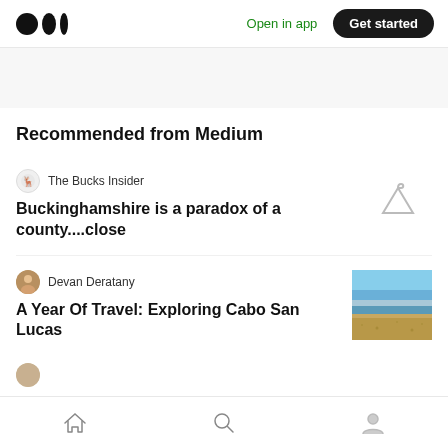Medium logo | Open in app | Get started
Recommended from Medium
The Bucks Insider
Buckinghamshire is a paradox of a county....close
Devan Deratany
A Year Of Travel: Exploring Cabo San Lucas
[Figure (photo): Beach thumbnail image showing sand and ocean with blue sky for article about Cabo San Lucas]
Home | Search | Profile